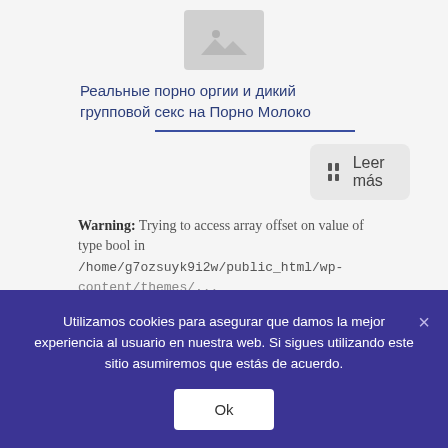[Figure (other): Gray image placeholder icon with mountain/landscape symbol]
Реальные порно оргии и дикий групповой секс на Порно Молоко
Leer más
Warning: Trying to access array offset on value of type bool in /home/g7ozsuyk9i2w/public_html/wp-
Utilizamos cookies para asegurar que damos la mejor experiencia al usuario en nuestra web. Si sigues utilizando este sitio asumiremos que estás de acuerdo.
Ok